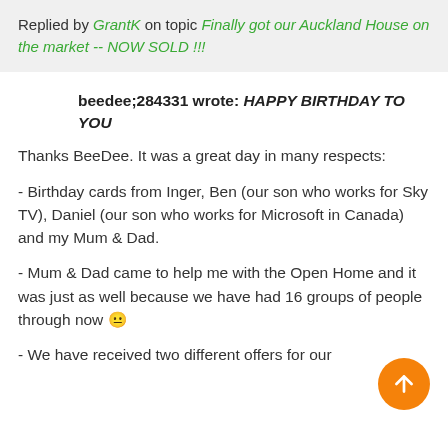Replied by GrantK on topic Finally got our Auckland House on the market -- NOW SOLD !!!
beedee;284331 wrote: HAPPY BIRTHDAY TO YOU
Thanks BeeDee. It was a great day in many respects:
- Birthday cards from Inger, Ben (our son who works for Sky TV), Daniel (our son who works for Microsoft in Canada) and my Mum & Dad.
- Mum & Dad came to help me with the Open Home and it was just as well because we have had 16 groups of people through now 😐
- We have received two different offers for our